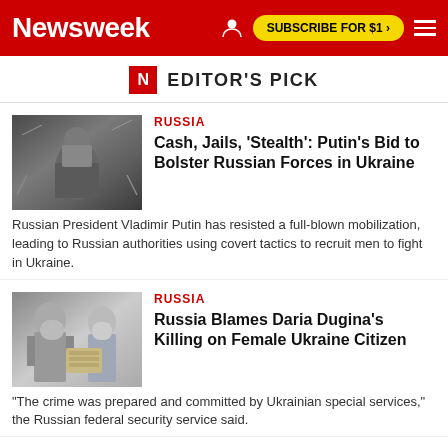Newsweek | SUBSCRIBE FOR $1 >
N EDITOR'S PICK
[Figure (photo): Military soldier in camouflage gear]
RUSSIA
Cash, Jails, 'Stealth': Putin's Bid to Bolster Russian Forces in Ukraine
Russian President Vladimir Putin has resisted a full-blown mobilization, leading to Russian authorities using covert tactics to recruit men to fight in Ukraine.
[Figure (photo): Two men, one elderly bearded man and one in a suit, with a building photograph between them]
RUSSIA
Russia Blames Daria Dugina's Killing on Female Ukraine Citizen
"The crime was prepared and committed by Ukrainian special services," the Russian federal security service said.
[Figure (map): Map showing sexual orientation laws in the world]
LGBTQ RIGHTS
Homosexuality Is Still Illegal in These 67